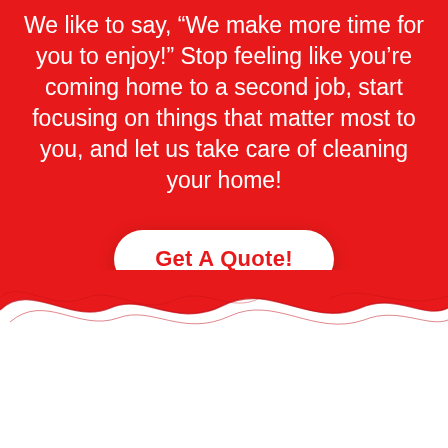We like to say, “We make more time for you to enjoy!” Stop feeling like you’re coming home to a second job, start focusing on things that matter most to you, and let us take care of cleaning your home!
Get A Quote!
[Figure (illustration): White wave shape at the bottom of a red background, creating a decorative transition to white]